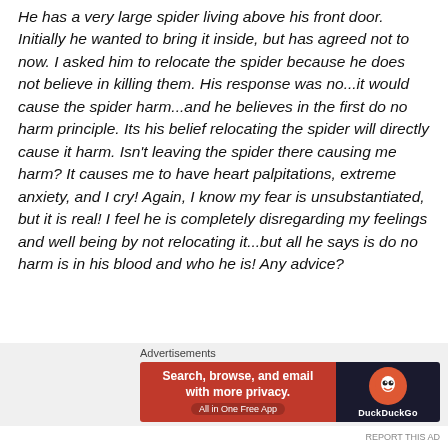He has a very large spider living above his front door. Initially he wanted to bring it inside, but has agreed not to now. I asked him to relocate the spider because he does not believe in killing them. His response was no...it would cause the spider harm...and he believes in the first do no harm principle. Its his belief relocating the spider will directly cause it harm. Isn't leaving the spider there causing me harm? It causes me to have heart palpitations, extreme anxiety, and I cry! Again, I know my fear is unsubstantiated, but it is real! I feel he is completely disregarding my feelings and well being by not relocating it...but all he says is do no harm is in his blood and who he is! Any advice?
Advertisements
[Figure (other): DuckDuckGo advertisement banner: orange left panel with text 'Search, browse, and email with more privacy. All in One Free App' and dark right panel with DuckDuckGo logo and name.]